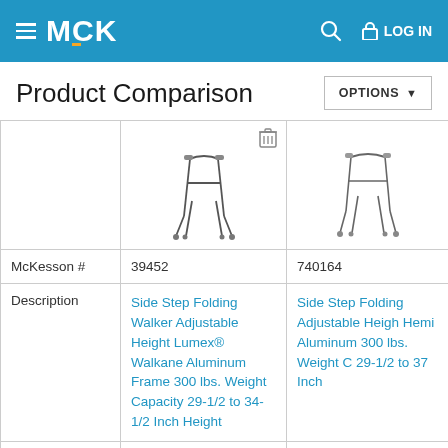≡ MCK  🔍  🔒 LOG IN
Product Comparison
|  | Product 1 | Product 2 |
| --- | --- | --- |
| [image] | [walker image] | [walker image 2] |
| McKesson # | 39452 | 740164 |
| Description | Side Step Folding Walker Adjustable Height Lumex® Walkane Aluminum Frame 300 lbs. Weight Capacity 29-1/2 to 34-1/2 Inch Height | Side Step Folding Adjustable Height Hemi Aluminum 300 lbs. Weight C 29-1/2 to 37 Inch |
| Manufacturer # | 6015A | 10240-1 |